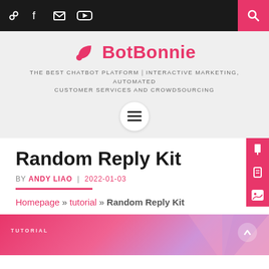BotBonnie – Navigation bar with social icons and search
BotBonnie
THE BEST CHATBOT PLATFORM｜INTERACTIVE MARKETING, AUTOMATED CUSTOMER SERVICES AND CROWDSOURCING
Random Reply Kit
BY ANDY LIAO | 2022-01-03
Homepage » tutorial » Random Reply Kit
[Figure (photo): Featured image with pink/coral gradient background and TUTORIAL label]